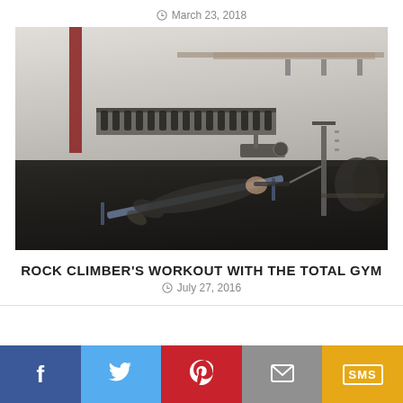March 23, 2018
[Figure (photo): A person performing an exercise on a Total Gym incline machine in a large gym facility filled with various exercise equipment, weights, and machines. The person is lying face down on the incline board and pulling themselves up.]
ROCK CLIMBER'S WORKOUT WITH THE TOTAL GYM
July 27, 2016
[Figure (infographic): Social sharing bar with five buttons: Facebook (blue), Twitter (light blue), Pinterest (red), Email (gray), SMS (yellow/gold)]